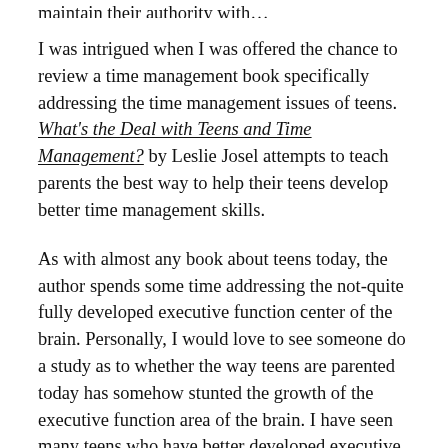…maintain their authority with…
I was intrigued when I was offered the chance to review a time management book specifically addressing the time management issues of teens. What's the Deal with Teens and Time Management? by Leslie Josel attempts to teach parents the best way to help their teens develop better time management skills.
As with almost any book about teens today, the author spends some time addressing the not-quite fully developed executive function center of the brain. Personally, I would love to see someone do a study as to whether the way teens are parented today has somehow stunted the growth of the executive function area of the brain. I have seen many teens who have better developed executive function skills than most of the adults I know. I